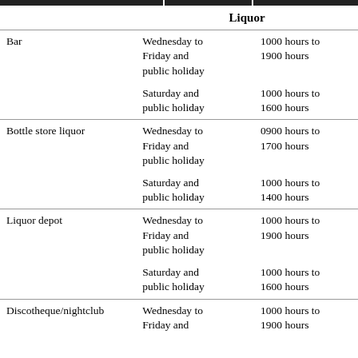|  | Liquor |  |
| --- | --- | --- |
| Bar | Wednesday to Friday and public holiday | 1000 hours to 1900 hours |
|  | Saturday and public holiday | 1000 hours to 1600 hours |
| Bottle store liquor | Wednesday to Friday and public holiday | 0900 hours to 1700 hours |
|  | Saturday and public holiday | 1000 hours to 1400 hours |
| Liquor depot | Wednesday to Friday and public holiday | 1000 hours to 1900 hours |
|  | Saturday and public holiday | 1000 hours to 1600 hours |
| Discotheque/nightclub | Wednesday to Friday and | 1000 hours to 1900 hours |